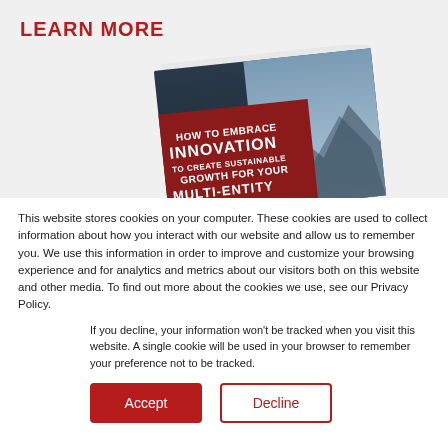LEARN MORE
[Figure (photo): Tilted book cover showing 'HOW TO EMBRACE INNOVATION TO CREATE SUSTAINABLE GROWTH FOR YOUR MULTI-ENTITY' text on a dark red and dark blue cover with mountain imagery]
This website stores cookies on your computer. These cookies are used to collect information about how you interact with our website and allow us to remember you. We use this information in order to improve and customize your browsing experience and for analytics and metrics about our visitors both on this website and other media. To find out more about the cookies we use, see our Privacy Policy.
If you decline, your information won't be tracked when you visit this website. A single cookie will be used in your browser to remember your preference not to be tracked.